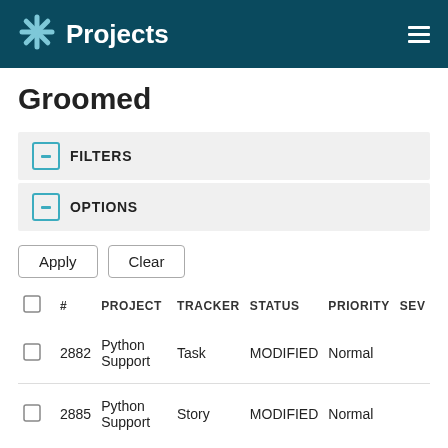Projects
Groomed
FILTERS
OPTIONS
Apply   Clear
|  | # | PROJECT | TRACKER | STATUS | PRIORITY | SE… |
| --- | --- | --- | --- | --- | --- | --- |
|  | 2882 | Python Support | Task | MODIFIED | Normal |  |
|  | 2885 | Python Support | Story | MODIFIED | Normal |  |